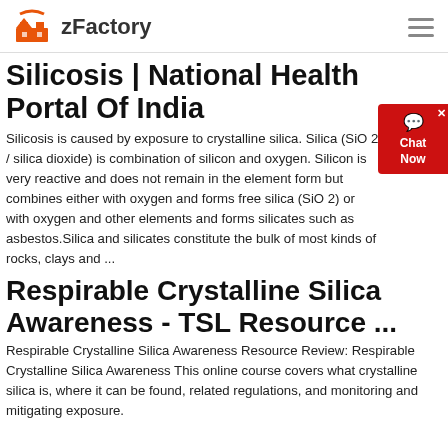zFactory
Silicosis | National Health Portal Of India
Silicosis is caused by exposure to crystalline silica. Silica (SiO 2 / silica dioxide) is combination of silicon and oxygen. Silicon is very reactive and does not remain in the element form but combines either with oxygen and forms free silica (SiO 2) or with oxygen and other elements and forms silicates such as asbestos.Silica and silicates constitute the bulk of most kinds of rocks, clays and ...
Respirable Crystalline Silica Awareness - TSL Resource ...
Respirable Crystalline Silica Awareness Resource Review: Respirable Crystalline Silica Awareness This online course covers what crystalline silica is, where it can be found, related regulations, and monitoring and mitigating exposure.